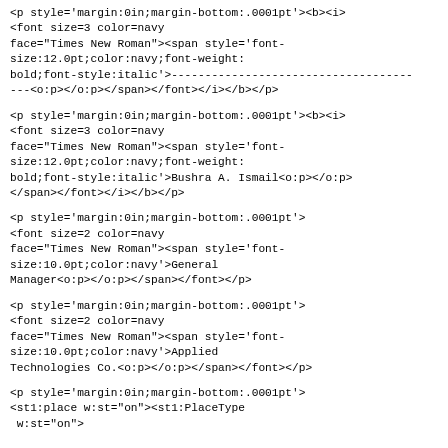<p style='margin:0in;margin-bottom:.0001pt'><b><i>
<font size=3 color=navy
face="Times New Roman"><span style='font-size:12.0pt;color:navy;font-weight:
bold;font-style:italic'>------------------------------------
---<o:p></o:p></span></font></i></b></p>
<p style='margin:0in;margin-bottom:.0001pt'><b><i>
<font size=3 color=navy
face="Times New Roman"><span style='font-size:12.0pt;color:navy;font-weight:
bold;font-style:italic'>Bushra A. Ismail<o:p></o:p>
</span></font></i></b></p>
<p style='margin:0in;margin-bottom:.0001pt'>
<font size=2 color=navy
face="Times New Roman"><span style='font-size:10.0pt;color:navy'>General
Manager<o:p></o:p></span></font></p>
<p style='margin:0in;margin-bottom:.0001pt'>
<font size=2 color=navy
face="Times New Roman"><span style='font-size:10.0pt;color:navy'>Applied
Technologies Co.<o:p></o:p></span></font></p>
<p style='margin:0in;margin-bottom:.0001pt'>
<st1:place w:st="on"><st1:PlaceType
 w:st="on">